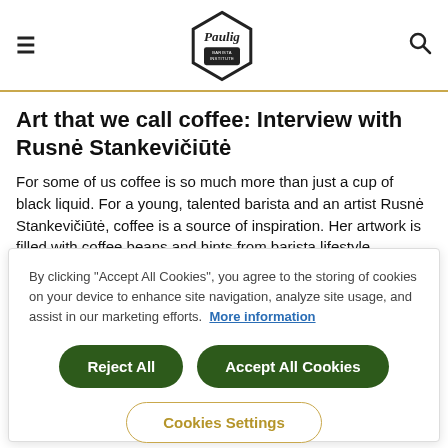Paulig Barista Institute
Art that we call coffee: Interview with Rusnė Stankevičiūtė
For some of us coffee is so much more than just a cup of black liquid. For a young, talented barista and an artist Rusnė Stankevičiūtė, coffee is a source of inspiration. Her artwork is filled with coffee beans and hints from barista lifestyle.
Blogger Gediminas Sereika
By clicking "Accept All Cookies", you agree to the storing of cookies on your device to enhance site navigation, analyze site usage, and assist in our marketing efforts.  More information
Reject All
Accept All Cookies
Cookies Settings